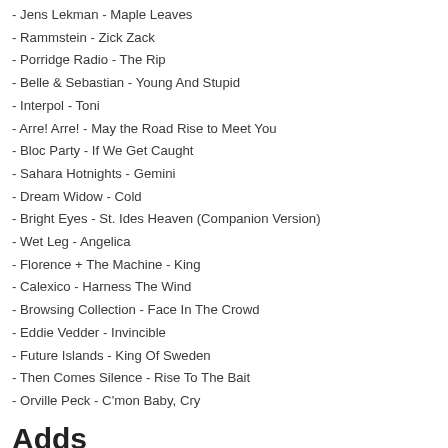- Jens Lekman - Maple Leaves
- Rammstein - Zick Zack
- Porridge Radio - The Rip
- Belle & Sebastian - Young And Stupid
- Interpol - Toni
- Arre! Arre! - May the Road Rise to Meet You
- Bloc Party - If We Get Caught
- Sahara Hotnights - Gemini
- Dream Widow - Cold
- Bright Eyes - St. Ides Heaven (Companion Version)
- Wet Leg - Angelica
- Florence + The Machine - King
- Calexico - Harness The Wind
- Browsing Collection - Face In The Crowd
- Eddie Vedder - Invincible
- Future Islands - King Of Sweden
- Then Comes Silence - Rise To The Bait
- Orville Peck - C'mon Baby, Cry
Adds